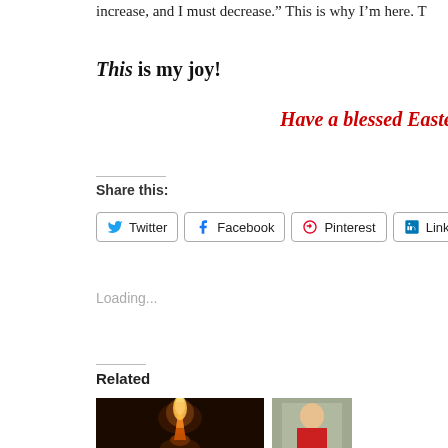increase, and I must decrease." This is why I'm here. T
This is my joy!
Have a blessed Easter, fr
Share this:
Twitter  Facebook  Pinterest  LinkedIn  Email
Loading...
Related
[Figure (photo): A lit candle with warm orange glow against dark background]
[Figure (photo): A person in a red shirt outdoors]